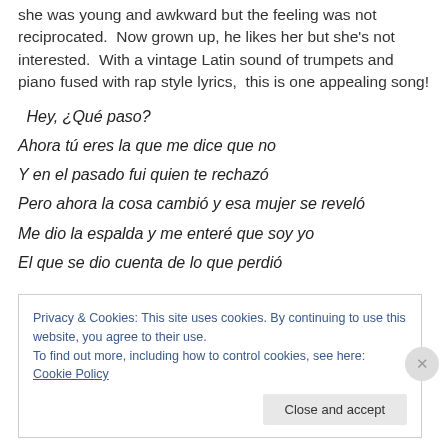she was young and awkward but the feeling was not reciprocated.  Now grown up, he likes her but she's not interested.  With a vintage Latin sound of trumpets and piano fused with rap style lyrics,  this is one appealing song!
Hey, ¿Qué paso?
Ahora tú eres la que me dice que no
Y en el pasado fui quien te rechazó
Pero ahora la cosa cambió y esa mujer se reveló
Me dio la espalda y me enteré que soy yo
El que se dio cuenta de lo que perdió
Privacy & Cookies: This site uses cookies. By continuing to use this website, you agree to their use.
To find out more, including how to control cookies, see here: Cookie Policy